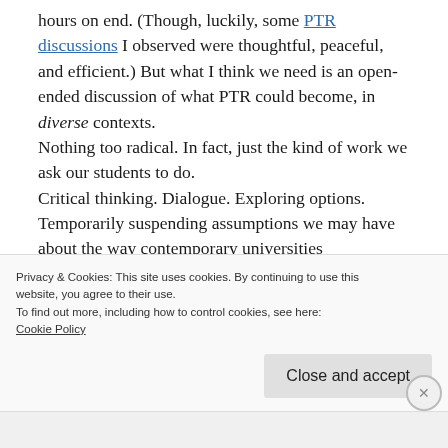hours on end. (Though, luckily, some PTR discussions I observed were thoughtful, peaceful, and efficient.) But what I think we need is an open-ended discussion of what PTR could become, in diverse contexts. Nothing too radical. In fact, just the kind of work we ask our students to do. Critical thinking. Dialogue. Exploring options. Temporarily suspending assumptions we may have about the way contemporary universities
Privacy & Cookies: This site uses cookies. By continuing to use this website, you agree to their use.
To find out more, including how to control cookies, see here:
Cookie Policy
Close and accept